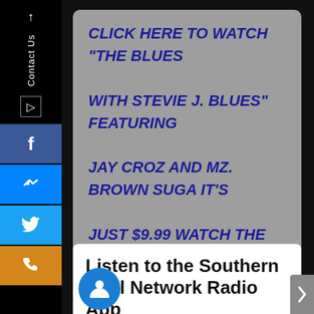CLICK HERE TO WATCH "THE BLUES WITH STEVIE J. BLUES" FEATURING JAY CROZ AND MZ. BROWN SUGA IT'S JUST $9.99 WATCH THE CONCERT NOW!!
Listen to the Southern Soul Network Radio App
Connecting with us is easier than you think! Download our app today for member only updates.